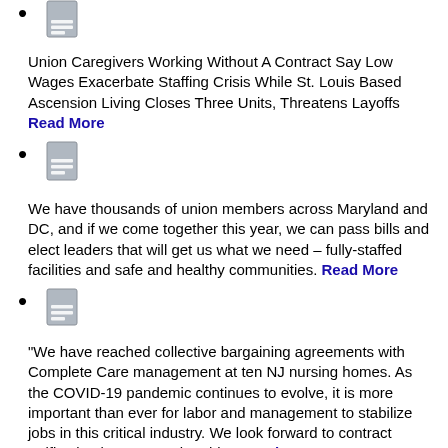Union Caregivers Working Without A Contract Say Low Wages Exacerbate Staffing Crisis While St. Louis Based Ascension Living Closes Three Units, Threatens Layoffs Read More
We have thousands of union members across Maryland and DC, and if we come together this year, we can pass bills and elect leaders that will get us what we need – fully-staffed facilities and safe and healthy communities. Read More
“We have reached collective bargaining agreements with Complete Care management at ten NJ nursing homes. As the COVID-19 pandemic continues to evolve, it is more important than ever for labor and management to stabilize jobs in this critical industry. We look forward to contract ratification by our membership.” Read More